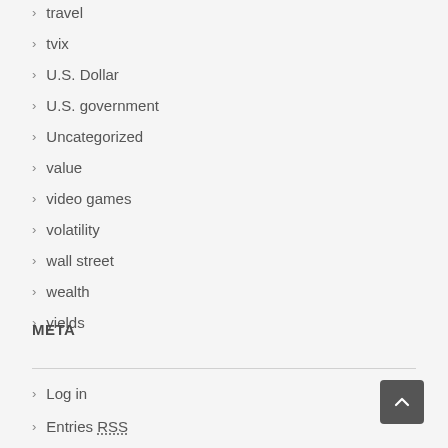travel
tvix
U.S. Dollar
U.S. government
Uncategorized
value
video games
volatility
wall street
wealth
yields
META
Log in
Entries RSS